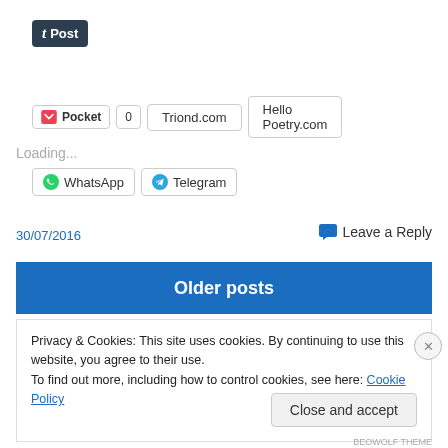[Figure (screenshot): Tumblr Post button - dark background with 't' logo and 'Post' text]
[Figure (screenshot): Social share buttons row: Pocket with heart icon and count 0, Triond.com button, Hello Poetry.com button]
[Figure (screenshot): WhatsApp and Telegram share buttons]
Loading...
30/07/2016
Leave a Reply
Older posts
Privacy & Cookies: This site uses cookies. By continuing to use this website, you agree to their use.
To find out more, including how to control cookies, see here: Cookie Policy
Close and accept